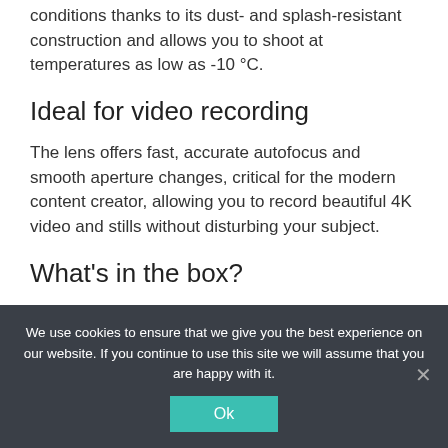conditions thanks to its dust- and splash-resistant construction and allows you to shoot at temperatures as low as -10 °C.
Ideal for video recording
The lens offers fast, accurate autofocus and smooth aperture changes, critical for the modern content creator, allowing you to record beautiful 4K video and stills without disturbing your subject.
What's in the box?
We use cookies to ensure that we give you the best experience on our website. If you continue to use this site we will assume that you are happy with it.